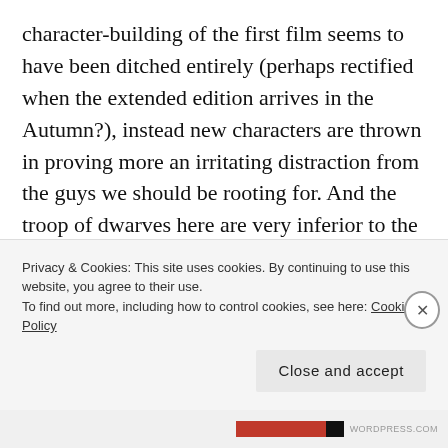character-building of the first film seems to have been ditched entirely (perhaps rectified when the extended edition arrives in the Autumn?), instead new characters are thrown in proving more an irritating distraction from the guys we should be rooting for. And the troop of dwarves here are very inferior to the fellowship of the Rings films- whether this is the casting or the script I don't know, but I think the blame chiefly lies with the skimpy source. The depth frankly isn't there
Privacy & Cookies: This site uses cookies. By continuing to use this website, you agree to their use.
To find out more, including how to control cookies, see here: Cookie Policy
Close and accept